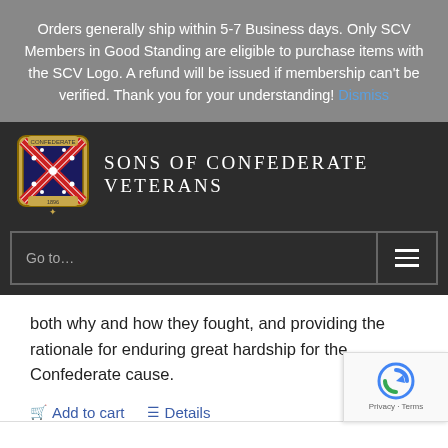Orders generally ship within 5-7 Business days. Only SCV Members in Good Standing are eligible to purchase items with the SCV Logo. A refund will be issued if membership can't be verified. Thank you for your understanding! Dismiss
[Figure (logo): Sons of Confederate Veterans logo with Confederate battle flag emblem and organization name]
Go to...
both why and how they fought, and providing the rationale for enduring great hardship for the Confederate cause.
Add to cart   Details